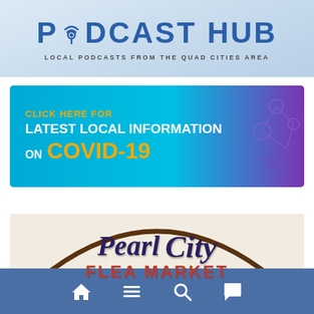[Figure (logo): Podcast Hub banner with large blue bold text 'PODCAST HUB' and subtitle 'LOCAL PODCASTS FROM THE QUAD CITIES AREA' on a light blue/grey gradient background]
[Figure (infographic): Blue/teal banner ad: 'CLICK HERE FOR LATEST LOCAL INFORMATION ON COVID-19' with molecule decoration on right side]
[Figure (logo): Pearl City Flea Market logo: script text 'Pearl City' and block red text 'FLEA MARKET' on cream background with arc swoosh]
[Figure (infographic): Dark blue bottom navigation bar with home, menu, search, and chat bubble icons]